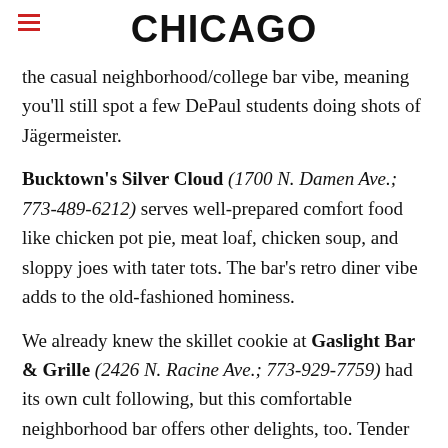CHICAGO
the casual neighborhood/college bar vibe, meaning you'll still spot a few DePaul students doing shots of Jägermeister.
Bucktown's Silver Cloud (1700 N. Damen Ave.; 773-489-6212) serves well-prepared comfort food like chicken pot pie, meat loaf, chicken soup, and sloppy joes with tater tots. The bar's retro diner vibe adds to the old-fashioned hominess.
We already knew the skillet cookie at Gaslight Bar & Grille (2426 N. Racine Ave.; 773-929-7759) had its own cult following, but this comfortable neighborhood bar offers other delights, too. Tender